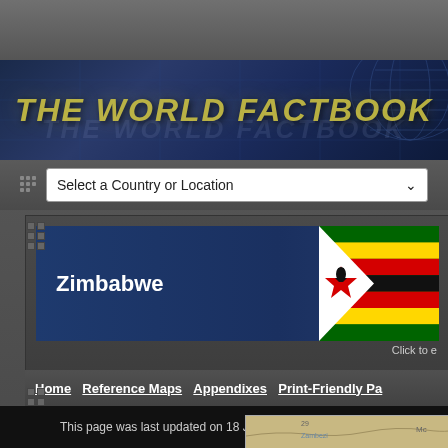THE WORLD FACTBOOK
Select a Country or Location
Zimbabwe
[Figure (illustration): Zimbabwe national flag showing green, yellow, red, black stripes with white triangle and Zimbabwe bird emblem]
Click to e
Home   Reference Maps   Appendixes   Print-Friendly Pa
This page was last updated on 18 Janua
[Figure (map): Partial map of Zimbabwe showing Zambezi river region with coordinate 29 marked]